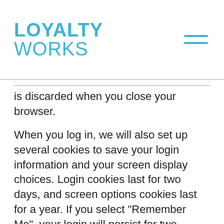LOYALTY WORKS
is discarded when you close your browser.
When you log in, we will also set up several cookies to save your login information and your screen display choices. Login cookies last for two days, and screen options cookies last for a year. If you select "Remember Me", your login will persist for two weeks. If you log out of your account, the login cookies will be removed.
If you edit or publish an article, an additional cookie will be saved in your browser. This cookie includes no personal data and simply indicates the post ID of